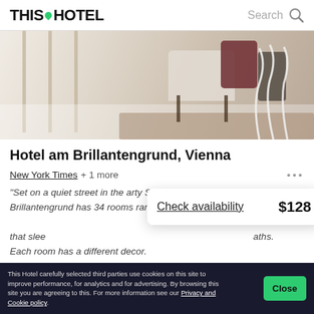THIS HOTEL | Search
[Figure (photo): Interior photo of a hotel room with white chairs, mid-century furniture, a dark red/maroon pillow, wire sculptures, and a patterned rug on a light floor]
Hotel am Brillantengrund, Vienna
New York Times + 1 more
“Set on a quiet street in the arty Seventh District, the quirky Hotel am Brillantengrund has 34 rooms ranging [from apartments] that sleep [up to 4 with private] baths. Each room has a different decor.
Check availability   $128
This Hotel carefully selected third parties use cookies on this site to improve performance, for analytics and for advertising. By browsing this site you are agreeing to this. For more information see our Privacy and Cookie policy.